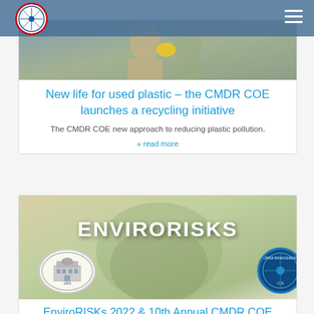CMDR COE website header with logo and navigation
[Figure (photo): Photo of people handing yellow plastic bag outdoors, partially visible at top]
New life for used plastic – the CMDR COE launches a recycling initiative
The CMDR COE new approach to reducing plastic pollution.
» read more
[Figure (photo): ENVIRORISKS banner image showing a building oval badge and CMDR COE badge over a foggy tree background]
EnviroRISKs 2022 & 10th Annual CMDR COE Conference